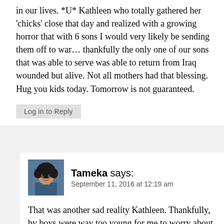in our lives. *U* Kathleen who totally gathered her 'chicks' close that day and realized with a growing horror that with 6 sons I would very likely be sending them off to war… thankfully the only one of our sons that was able to serve was able to return from Iraq wounded but alive. Not all mothers had that blessing. Hug you kids today. Tomorrow is not guaranteed.
Log in to Reply
Tameka says:
September 11, 2016 at 12:19 am
That was another sad reality Kathleen. Thankfully, by boys were way too young for me to worry about them going to war anytime soon, but I